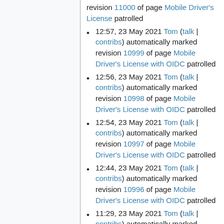revision 11000 of page Mobile Driver's License patrolled
12:57, 23 May 2021 Tom (talk | contribs) automatically marked revision 10999 of page Mobile Driver's License with OIDC patrolled
12:56, 23 May 2021 Tom (talk | contribs) automatically marked revision 10998 of page Mobile Driver's License with OIDC patrolled
12:54, 23 May 2021 Tom (talk | contribs) automatically marked revision 10997 of page Mobile Driver's License with OIDC patrolled
12:44, 23 May 2021 Tom (talk | contribs) automatically marked revision 10996 of page Mobile Driver's License with OIDC patrolled
11:29, 23 May 2021 Tom (talk | contribs) automatically marked